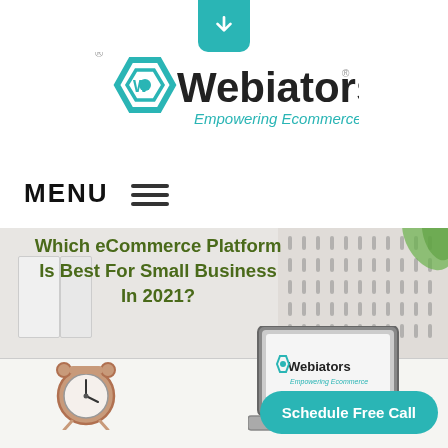[Figure (logo): Teal download arrow button at top center of page]
[Figure (logo): Webiators logo with teal hexagon shield icon and text 'Webiators' with tagline 'Empowering Ecommerce']
MENU  ☰
[Figure (photo): Hero banner image showing office desk with alarm clock and laptop displaying Webiators logo, with text overlay 'Which eCommerce Platform Is Best For Small Business In 2021?' and a 'Schedule Free Call' teal button]